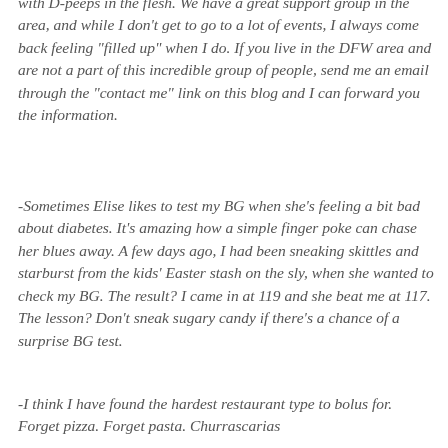with D-peeps in the flesh.  We have a great support group in the area, and while I don't get to go to a lot of events, I always come back feeling "filled up" when I do.  If you live in the DFW area and are not a part of this incredible group of people, send me an email through the "contact me" link on this blog and I can forward you the information.
-Sometimes Elise likes to test my BG when she's feeling a bit bad about diabetes.  It's amazing how a simple finger poke can chase her blues away.  A few days ago, I had been sneaking skittles and starburst from the kids' Easter stash on the sly, when she wanted to check my BG.  The result?  I came in at 119 and she beat me at 117.  The lesson? Don't sneak sugary candy if there's a chance of a surprise BG test.
-I think I have found the hardest restaurant type to bolus for.  Forget pizza.  Forget pasta.  Churrascarias